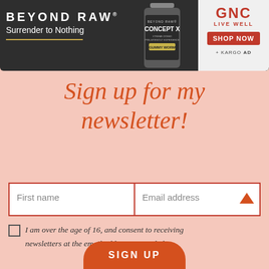[Figure (photo): Beyond Raw advertisement banner with dark background, product bottle, GNC Live Well branding, and Shop Now button]
Sign up for my newsletter!
First name
Email address
I am over the age of 16, and consent to receiving newsletters at the email address I provided.
SIGN UP